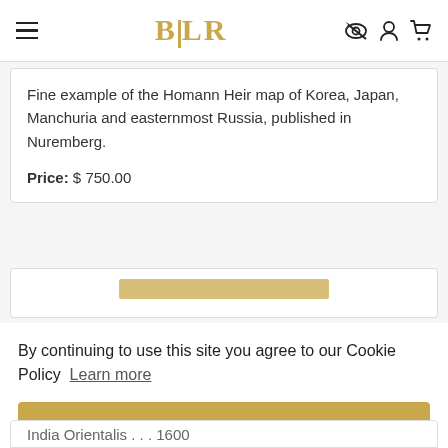BLR
Fine example of the Homann Heir map of Korea, Japan, Manchuria and easternmost Russia, published in Nuremberg.

Price: $ 750.00
By continuing to use this site you agree to our Cookie Policy  Learn more
Got it!
India Orientalis . . . 1600